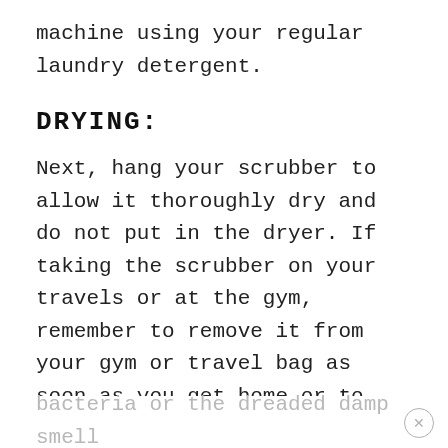machine using your regular laundry detergent.
DRYING:
Next, hang your scrubber to allow it thoroughly dry and do not put in the dryer. If taking the scrubber on your travels or at the gym, remember to remove it from your gym or travel bag as soon as you get home or to your destination to let it dry between uses. Lingering moisture can lead to
bacteria or the dreaded damp smell